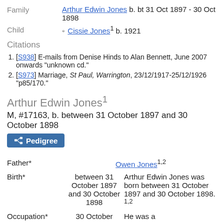Family   Arthur Edwin Jones b. bt 31 Oct 1897 - 30 Oct 1898
Child   Cissie Jones¹ b. 1921
Citations
[S938] E-mails from Denise Hinds to Alan Bennett, June 2007 onwards "unknown cd."
[S973] Marriage, St Paul, Warrington, 23/12/1917-25/12/1926 "p85/170."
Arthur Edwin Jones¹
M, #17163, b. between 31 October 1897 and 30 October 1898
Pedigree
Father*   Owen Jones¹·²
Birth*   between 31 October 1897 and 30 October 1898   Arthur Edwin Jones was born between 31 October 1897 and 30 October 1898.¹·²
Occupation*   30 October   He was a